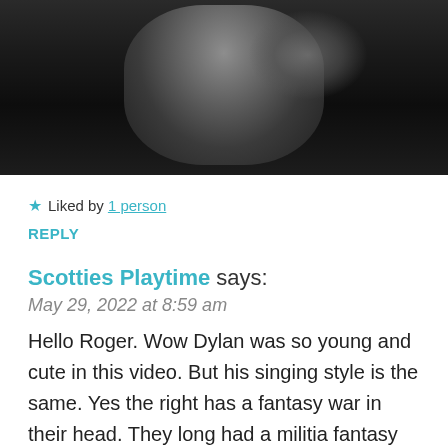[Figure (photo): Black and white photo of a young man (Bob Dylan) singing into a microphone, cropped to show the upper body and face area]
★ Liked by 1 person
REPLY
Scotties Playtime says:
May 29, 2022 at 8:59 am
Hello Roger. Wow Dylan was so young and cute in this video. But his singing style is the same. Yes the right has a fantasy war in their head. They long had a militia fantasy that their rag tag militias could take on and